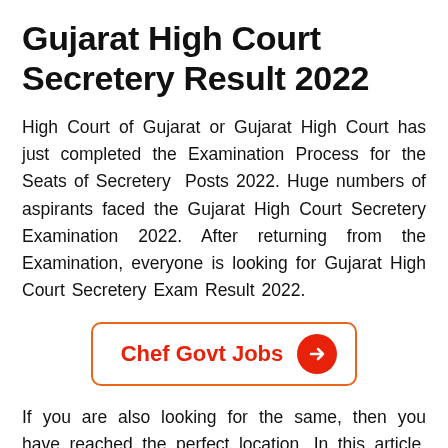Gujarat High Court Secretery Result 2022
High Court of Gujarat or Gujarat High Court has just completed the Examination Process for the Seats of Secretery Posts 2022. Huge numbers of aspirants faced the Gujarat High Court Secretery Examination 2022. After returning from the Examination, everyone is looking for Gujarat High Court Secretery Exam Result 2022.
[Figure (other): CTA button with orange border reading 'Chef Govt Jobs' in red text with a red circle arrow icon on the right]
If you are also looking for the same, then you have reached the perfect location. In this article, we are going to discuss Gujarat High Court Secretery